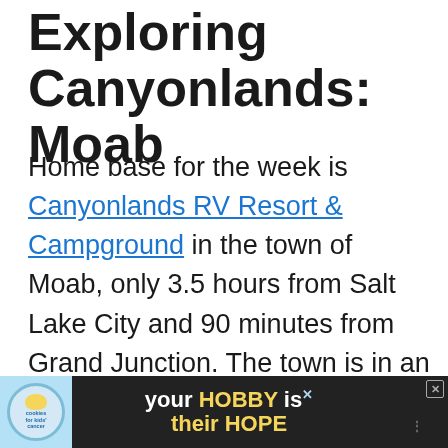Exploring Canyonlands: Moab
Home base for the week is Canyonlands RV Resort & Campground in the town of Moab, only 3.5 hours from Salt Lake City and 90 minutes from Grand Junction. The town is in an ideal location: 5.5 miles south of the entrance to Arches National Park, 30 miles northeast of Dead Horse Point State Park, 32 miles northeast of Island in the Sky Visitor Center in Canyonlands National Park, and 76 miles east of the entrance to Needles District, Canyonlands National P...
[Figure (other): Advertisement banner at the bottom: cookies for kids' cancer logo on the left, center text reads 'your HOBBY is their HOPE' with HOBBY and HOPE in yellow, close button top right.]